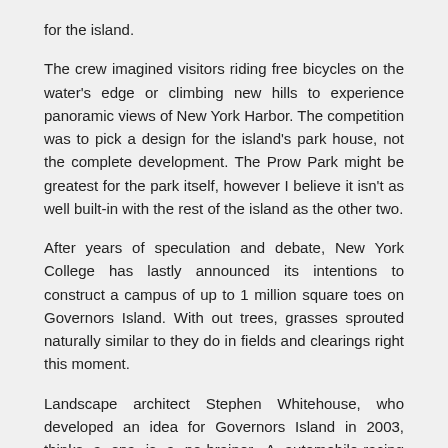for the island.
The crew imagined visitors riding free bicycles on the water's edge or climbing new hills to experience panoramic views of New York Harbor. The competition was to pick a design for the island's park house, not the complete development. The Prow Park might be greatest for the park itself, however I believe it isn't as well built-in with the rest of the island as the other two.
After years of speculation and debate, New York College has lastly announced its intentions to construct a campus of up to 1 million square toes on Governors Island. With out trees, grasses sprouted naturally similar to they do in fields and clearings right this moment.
Landscape architect Stephen Whitehouse, who developed an idea for Governors Island in 2003, thinks a spa is a no-brainer. A automobile-racing league is contemplating a slot on its circuit for Governors Island, the 172-acre former navy base that town and state are meaning to develop.